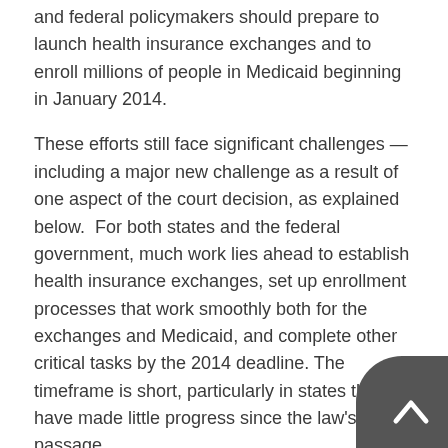coverage expansions are scheduled to take effect. State and federal policymakers should prepare to launch health insurance exchanges and to enroll millions of people in Medicaid beginning in January 2014.
These efforts still face significant challenges — including a major new challenge as a result of one aspect of the court decision, as explained below. For both states and the federal government, much work lies ahead to establish health insurance exchanges, set up enrollment processes that work smoothly both for the exchanges and Medicaid, and complete other critical tasks by the 2014 deadline. The timeframe is short, particularly in states that have made little progress since the law's passage.
The Biggest Challenge
The single biggest challenge may lie in the decisions that states make regarding health coverage for uninsured people living below the poverty line — primarily working